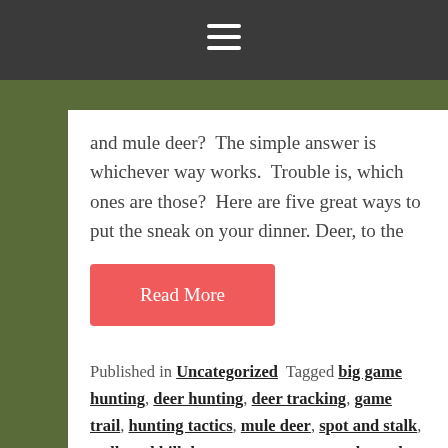≡
and mule deer?  The simple answer is whichever way works.  Trouble is, which ones are those?  Here are five great ways to put the sneak on your dinner. Deer, to the
Read More
Published in Uncategorized  Tagged big game hunting, deer hunting, deer tracking, game trail, hunting tactics, mule deer, spot and stalk, stalk and kill deer, strategy, tree stand, trophy buck, whitetail deer